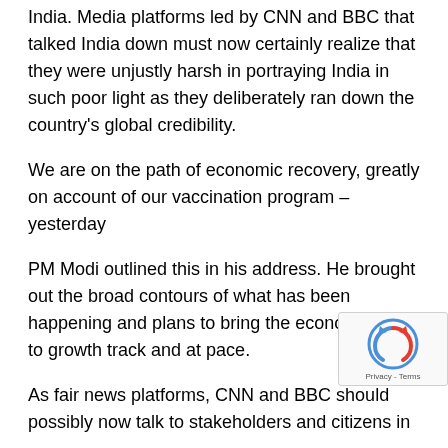India. Media platforms led by CNN and BBC that talked India down must now certainly realize that they were unjustly harsh in portraying India in such poor light as they deliberately ran down the country's global credibility.
We are on the path of economic recovery, greatly on account of our vaccination program – yesterday
PM Modi outlined this in his address. He brought out the broad contours of what has been happening and plans to bring the economy back to growth track and at pace.
As fair news platforms, CNN and BBC should possibly now talk to stakeholders and citizens in
[Figure (other): reCAPTCHA badge with Privacy - Terms text]